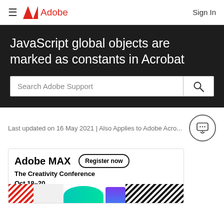≡  Adobe  Sign In
JavaScript global objects are marked as constants in Acrobat
Search Adobe Support
Last updated on 16 May 2021 | Also Applies to Adobe Acro...
[Figure (screenshot): Adobe MAX advertisement banner with Register now button, The Creativity Conference text, Oct 18-20 date, and colorful graphic elements]